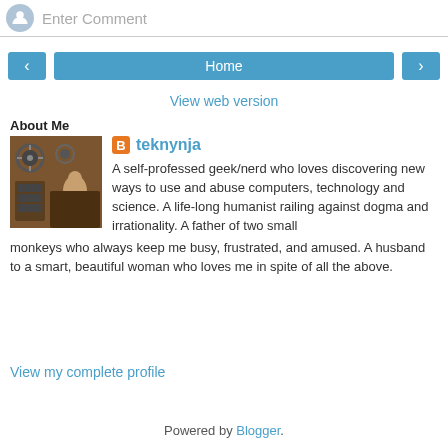Enter Comment
Home
View web version
About Me
[Figure (photo): Profile photo of teknynja - steampunk/industrial style image with gauges and machinery]
teknynja
A self-professed geek/nerd who loves discovering new ways to use and abuse computers, technology and science. A life-long humanist railing against dogma and irrationality. A father of two small monkeys who always keep me busy, frustrated, and amused. A husband to a smart, beautiful woman who loves me in spite of all the above.
View my complete profile
Powered by Blogger.